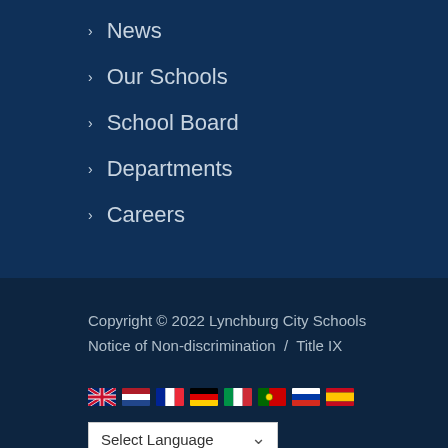News
Our Schools
School Board
Departments
Careers
Copyright © 2022 Lynchburg City Schools
Notice of Non-discrimination  /  Title IX
[Figure (infographic): Row of country flag icons: UK, Netherlands, France, Germany, Italy, Portugal, Russia, Spain]
Select Language